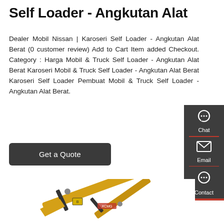Self Loader - Angkutan Alat
Dealer Mobil Nissan | Karoseri Self Loader - Angkutan Alat Berat (0 customer review) Add to Cart Item added Checkout. Category : Harga Mobil & Truck Self Loader - Angkutan Alat Berat Karoseri Mobil & Truck Self Loader - Angkutan Alat Berat Karoseri Self Loader Pembuat Mobil & Truck Self Loader - Angkutan Alat Berat.
[Figure (other): Dark rounded rectangle button labeled 'Get a Quote']
[Figure (other): Sidebar panel with dark grey background showing Chat, Email, and Contact icons with labels]
[Figure (photo): Partial photo of a yellow XCMG excavator arm/boom against white background]